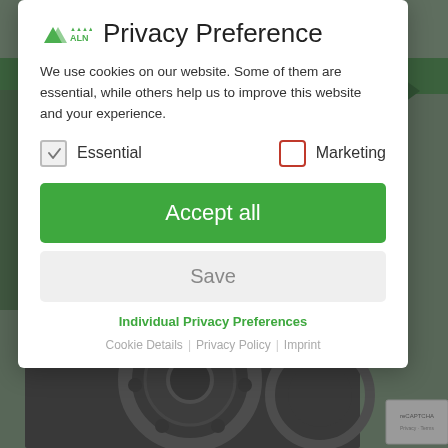[Figure (screenshot): Website background showing green navigation bar and mechanical gear/wheel photo, dimmed by modal overlay]
Privacy Preference
We use cookies on our website. Some of them are essential, while others help us to improve this website and your experience.
Essential (checked checkbox)
Marketing (unchecked checkbox with red border)
Accept all
Save
Individual Privacy Preferences
Cookie Details | Privacy Policy | Imprint